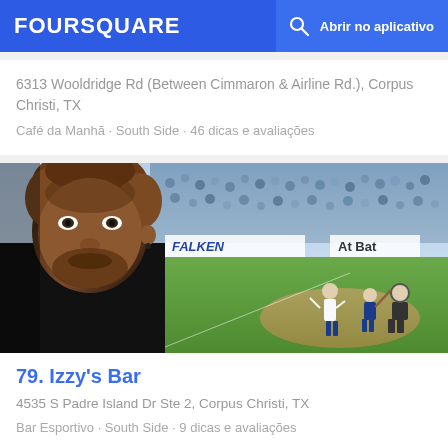FOURSQUARE  Abrir no aplicativo
6313 Wooldridge Rd (Between Cimmaron & Airline Rd.), Corpus Christi, TX
Café da Manhã · South Side · 46 dicas e avaliações
[Figure (photo): A man with curly hair and a beard close up, with a baseball game in the background showing players on the field, a catcher, a batter, and stadium crowds; signage reads FALKEN and At Bat]
79. Izzy's Bar
4535 S Padre Island Dr Ste 2, Corpus Christi, TX
Bar Esportivo · South Side · 9 dicas e avaliações